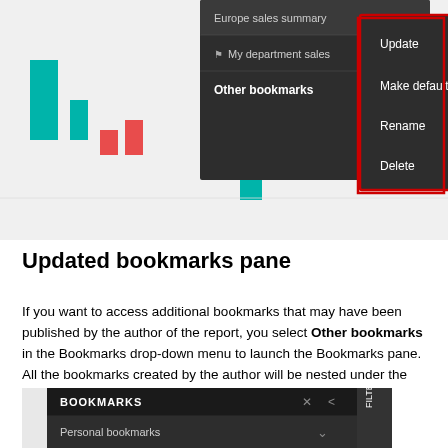[Figure (screenshot): Screenshot of a Power BI report with a dark dropdown menu showing 'Europe sales summary', 'My department sales', and 'Other bookmarks' options. A red-bordered context menu appears on the right with options: Update, Make default, Rename, Delete. Behind it is a bar chart with teal and red bars.]
Updated bookmarks pane
If you want to access additional bookmarks that may have been published by the author of the report, you select Other bookmarks in the Bookmarks drop-down menu to launch the Bookmarks pane. All the bookmarks created by the author will be nested under the “Report bookmarks” heading.
[Figure (screenshot): Screenshot of a dark-themed Bookmarks pane panel showing 'BOOKMARKS' header with an X and < icon, 'Personal bookmarks' with a chevron dropdown, and a 'FILTER' tab on the right side.]